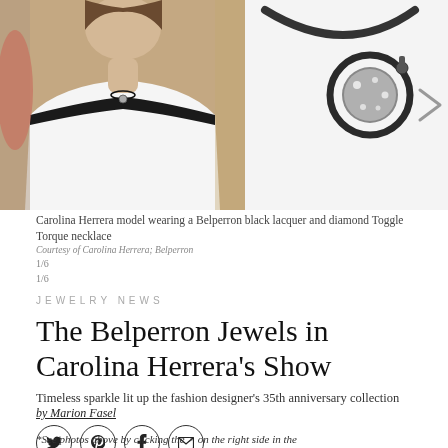[Figure (photo): Carolina Herrera model wearing a Belperron black lacquer and diamond Toggle Torque necklace — left photo shows fashion model in white off-shoulder dress with necklace; right photo shows close-up of the necklace jewelry piece on white background]
Carolina Herrera model wearing a Belperron black lacquer and diamond Toggle Torque necklace
Courtesy of Carolina Herrera; Belperron
1/6
1/6
JEWELRY NEWS
The Belperron Jewels in Carolina Herrera's Show
Timeless sparkle lit up the fashion designer's 35th anniversary collection
by Marion Fasel
[Figure (infographic): Social sharing icons row: Twitter bird, Pinterest P, Facebook f, Email envelope — each in a circle outline]
*See photos above by clicking the > on the right side in the